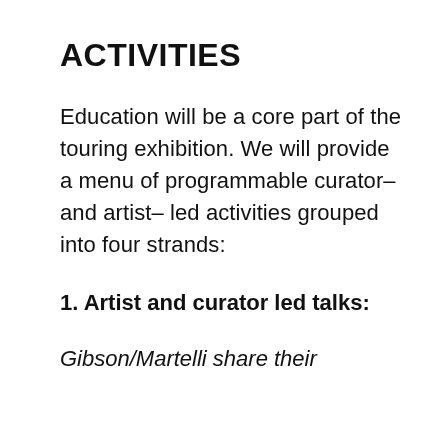ACTIVITIES
Education will be a core part of the touring exhibition. We will provide a menu of programmable curator– and artist– led activities grouped into four strands:
1. Artist and curator led talks:
Gibson/Martelli share their